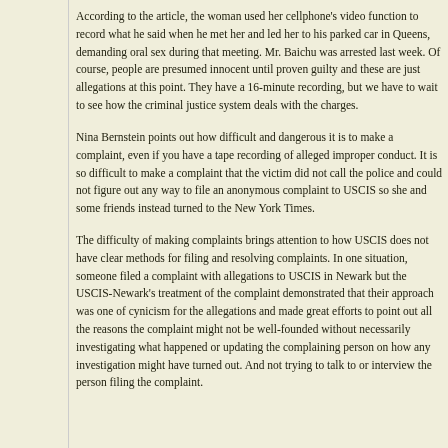According to the article, the woman used her cellphone's video function to record what he said when he met her and led her to his parked car in Queens, demanding oral sex during that meeting. Mr. Baichu was arrested last week. Of course, people are presumed innocent until proven guilty and these are just allegations at this point. They have a 16-minute recording, but we have to wait to see how the criminal justice system deals with the charges.
Nina Bernstein points out how difficult and dangerous it is to make a complaint, even if you have a tape recording of alleged improper conduct. It is so difficult to make a complaint that the victim did not call the police and could not figure out any way to file an anonymous complaint to USCIS so she and some friends instead turned to the New York Times.
The difficulty of making complaints brings attention to how USCIS does not have clear methods for filing and resolving complaints. In one situation, someone filed a complaint with allegations to USCIS in Newark but the USCIS-Newark's treatment of the complaint demonstrated that their approach was one of cynicism for the allegations and made great efforts to point out all the reasons the complaint might not be well-founded without necessarily investigating what happened or updating the complaining person on how any investigation might have turned out. And not trying to talk to or interview the person filing the complaint.